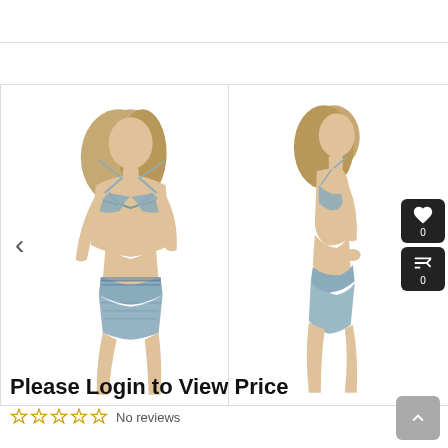[Figure (photo): Two views of a female model wearing a patterned bikini set — front view on the left and side/back view on the right. The bikini has a metallic/snakeskin pattern in silver-blue tones. Left panel shows a left-chevron navigation arrow. Right panel shows action buttons (heart/like with count 0, and a settings/compare icon with count 0).]
Please Login to View Price
No reviews